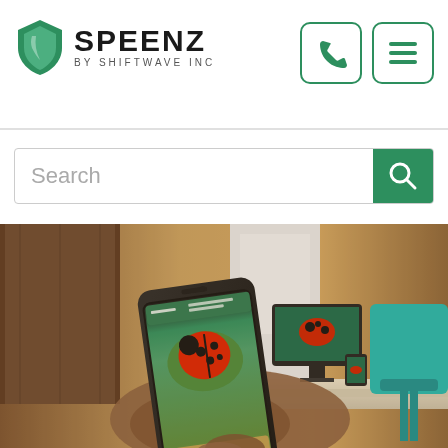[Figure (logo): Speenz by Shiftwave Inc logo with green shield icon and wordmark]
[Figure (screenshot): Navigation icons: phone handset icon and hamburger menu icon, both in green rounded-rectangle borders]
[Figure (screenshot): Search bar with 'Search' placeholder text and green search button]
[Figure (photo): Person holding a smartphone showing a website with a ladybug image, with an office/desk background including a monitor, teal chair, and wooden furniture]